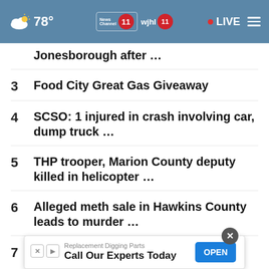78° News Channel 11 wjhl 11 • LIVE
Jonesborough after …
3   Food City Great Gas Giveaway
4   SCSO: 1 injured in crash involving car, dump truck …
5   THP trooper, Marion County deputy killed in helicopter …
6   Alleged meth sale in Hawkins County leads to murder …
7   Dolly Parton's Imagination Library stops by Sullivan …
8   M… d…'s are to look in …
[Figure (screenshot): Advertisement overlay: 'Replacement Digging Parts – Call Our Experts Today' with OPEN button]